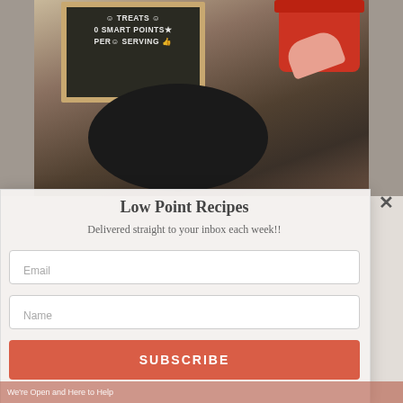[Figure (photo): Cooking scene from above: a chalkboard sign reading 'TREATS 0 SMART POINTS PER SERVING', a black skillet pan with banana chips/slices being cooked, a red pot in the upper right, and a hand holding a pink measuring spoon over a jar of spice.]
Low Point Recipes
Delivered straight to your inbox each week!!
Email
Name
SUBSCRIBE